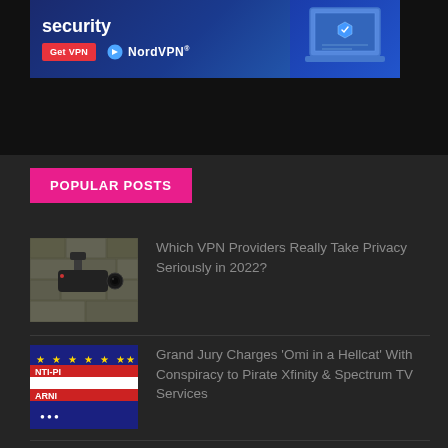[Figure (screenshot): NordVPN advertisement banner with 'security' text, 'Get VPN' button, NordVPN logo, and laptop graphic on blue background]
POPULAR POSTS
[Figure (photo): Security camera mounted on stone wall]
Which VPN Providers Really Take Privacy Seriously in 2022?
[Figure (photo): Anti-piracy warning sign with NTI-PI and ARNI text, stars on blue background]
Grand Jury Charges 'Omi in a Hellcat' With Conspiracy to Pirate Xfinity & Spectrum TV Services
[Figure (photo): Red brick wall texture]
Netflix Intensifies 'VPN Ban' and Targets Residential IP-addresses Too (Updated)